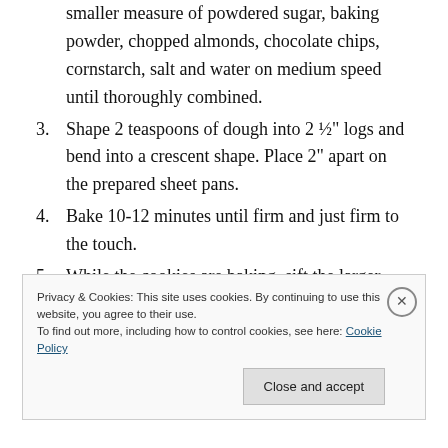smaller measure of powdered sugar, baking powder, chopped almonds, chocolate chips, cornstarch, salt and water on medium speed until thoroughly combined.
3. Shape 2 teaspoons of dough into 2 ½" logs and bend into a crescent shape. Place 2" apart on the prepared sheet pans.
4. Bake 10-12 minutes until firm and just firm to the touch.
5. While the cookies are baking, sift the larger measure of powdered sugar and cocoa powder together in a
Privacy & Cookies: This site uses cookies. By continuing to use this website, you agree to their use.
To find out more, including how to control cookies, see here: Cookie Policy